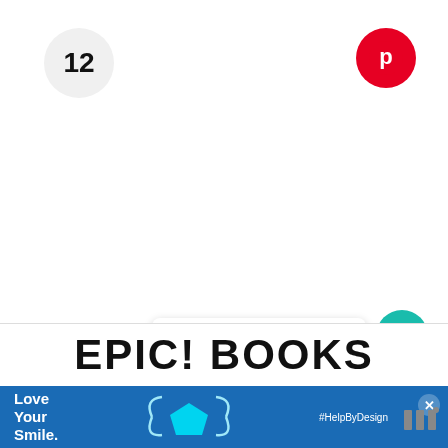12
[Figure (logo): Pinterest logo button - red circle with white P icon]
[Figure (logo): Heart/like button - teal circle with white heart icon, count 96]
96
[Figure (logo): Share button - white circle with share icon]
[Figure (screenshot): What's Next card showing Fun Travel Activities for... with colorful thumbnail]
EPIC! BOOKS
[Figure (infographic): Advertisement banner: Love Your Smile with dental mask graphic and #HelpByDesign hashtag]